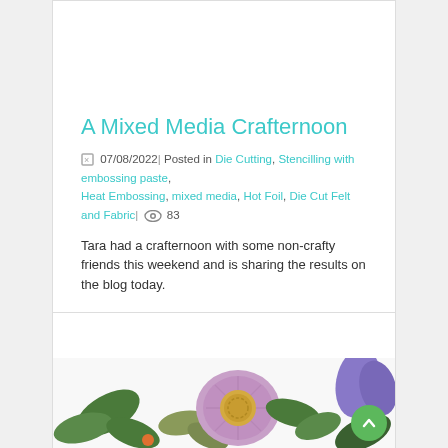[Figure (photo): Colorful floral mosaic artwork with red, purple, green and yellow flowers on blue background, cropped at top of page]
A Mixed Media Crafternoon
07/08/2022| Posted in Die Cutting, Stencilling with embossing paste, Heat Embossing, mixed media, Hot Foil, Die Cut Felt and Fabric| 👁 83
Tara had a crafternoon with some non-crafty friends this weekend and is sharing the results on the blog today.
Read More
[Figure (photo): Felt flower craft artwork with purple flower, green leaves, yellow center, and additional purple and green felt pieces on white background]